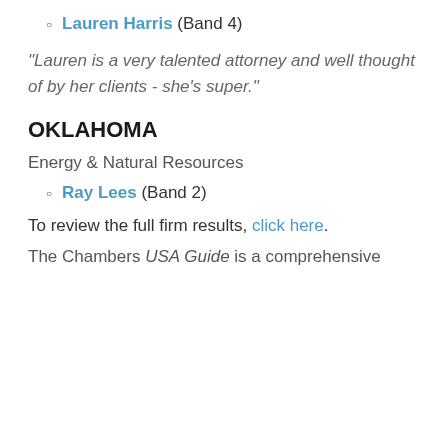Lauren Harris (Band 4)
"Lauren is a very talented attorney and well thought of by her clients - she's super."
OKLAHOMA
Energy & Natural Resources
Ray Lees (Band 2)
To review the full firm results, click here.
The Chambers USA Guide is a comprehensive